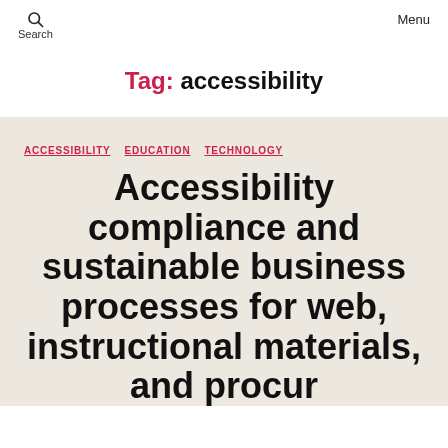Search  Menu
Tag: accessibility
ACCESSIBILITY  EDUCATION  TECHNOLOGY
Accessibility compliance and sustainable business processes for web, instructional materials, and procurement